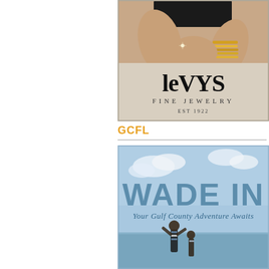[Figure (illustration): Levy's Fine Jewelry advertisement showing a woman wearing gold bangles and rings, with the LEVYS FINE JEWELRY EST 1922 logo overlaid on a textured background.]
GCFL
[Figure (illustration): Wade In advertisement for Gulf County tourism, showing text 'WADE IN - Your Gulf County Adventure Awaits' over a blue sky background with people standing at a waterfront.]